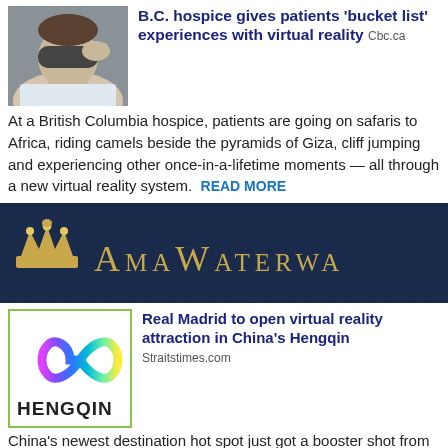[Figure (photo): Person wearing a sleep mask, reclining]
B.C. hospice gives patients 'bucket list' experiences with virtual reality Cbc.ca
At a British Columbia hospice, patients are going on safaris to Africa, riding camels beside the pyramids of Giza, cliff jumping and experiencing other once-in-a-lifetime moments — all through a new virtual reality system. READ MORE
[Figure (logo): AmaWaterways banner logo with gold crown and text on dark blue background]
[Figure (logo): Hengqin logo with colorful infinity symbol and company name]
Real Madrid to open virtual reality attraction in China's Hengqin Straitstimes.com
China's newest destination hot spot just got a booster shot from Ronaldo's Real Madrid football club. The Spanish giants have announced that they will open an interactive "virtual reality" complex in Hengqin, in partnership with Hong Kong-listed developer Lai Sun Group. The 12,000 sq. m venue, set to open